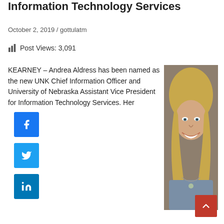Information Technology Services
October 2, 2019 / gottulatm
Post Views: 3,091
KEARNEY – Andrea Aldress has been named as the new UNK Chief Information Officer and University of Nebraska Assistant Vice President for Information Technology Services. Her
[Figure (photo): Professional headshot of a smiling woman with long blonde hair, wearing a blue shirt and necklace, against a blurred brown background.]